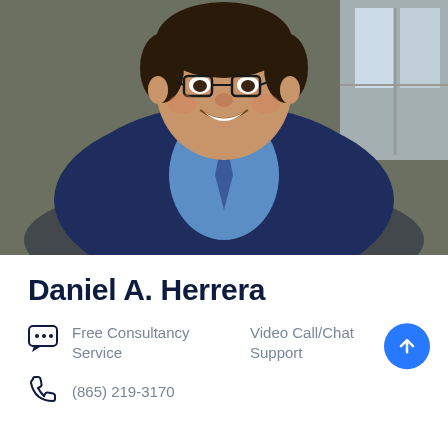[Figure (photo): Professional headshot of Daniel A. Herrera, a man wearing glasses and a dark navy suit with blue shirt and tie, smiling, seated in an office setting]
Daniel A. Herrera
Free Consultancy Service
Video Call/Chat Support
(865) 219-3170